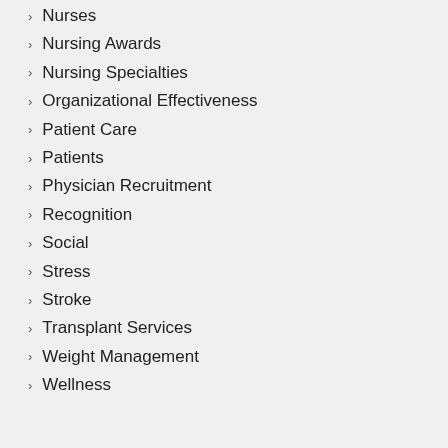Nurses
Nursing Awards
Nursing Specialties
Organizational Effectiveness
Patient Care
Patients
Physician Recruitment
Recognition
Social
Stress
Stroke
Transplant Services
Weight Management
Wellness